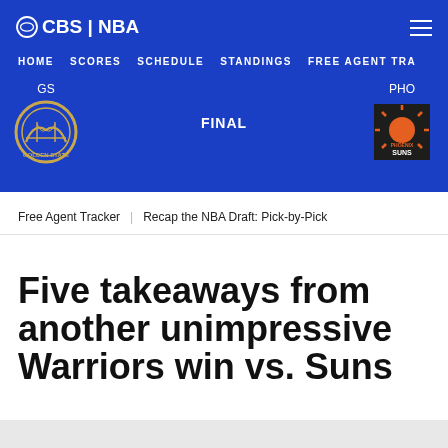CBS | NBA
HOME   SCORES   SCHEDULE   STANDINGS   FREE AGENT TRACKER
[Figure (infographic): Game score display: GS (Golden State Warriors) vs PHO (Phoenix Suns), result: FINAL. Warriors logo on left, Suns logo on right, centered on blue background.]
Free Agent Tracker   Recap the NBA Draft: Pick-by-Pick
Five takeaways from another unimpressive Warriors win vs. Suns